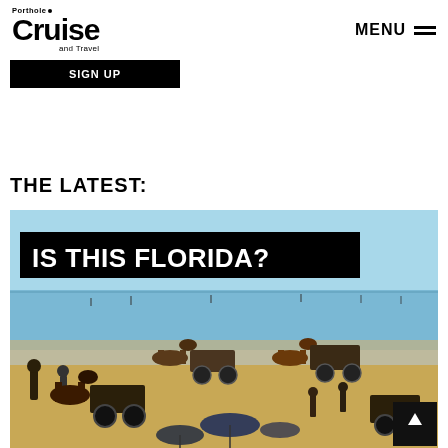Porthole Cruise and Travel — MENU
SIGN UP
THE LATEST:
[Figure (photo): Historical beach scene with horse-drawn carriages and people on a sandy beach with blue ocean, overlaid with black banner reading IS THIS FLORIDA?]